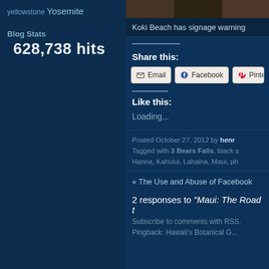yellowstone Yosemite
Blog Stats
628,738 hits
[Figure (photo): Rocky landscape or beach photo, partially visible at top of right column]
Koki Beach has signage warning
Share this:
Email | Facebook | Pinterest
Like this:
Loading...
Posted October 27, 2012 by henr
Tagged with 3 Bears Falls, black s...
Hanna, Kahului, Lahaina, Maui, ph...
« The Use and Abuse of Facebook
2 responses to "Maui: The Road t
Subscribe to comments with RSS.
Pingback: Hawaii's Botanical G...